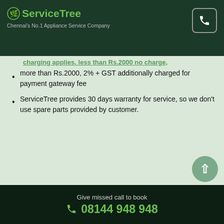ServiceTree — Chennai's No.1 Appliance Service Company
more than Rs.2000, 2% + GST additionally charged for payment gateway fee
ServiceTree provides 30 days warranty for service, so we don't use spare parts provided by customer.
Home / Deawoo Microwave Oven Service in Injambakkam
Deawoo Microwave Oven Service in Injambakkam
ServiceTree provides well experienced Deawoo Microwave Oven Service in Injambakkam to fix your Microwave Oven, we cover
Give missed call to book 08144 948 948